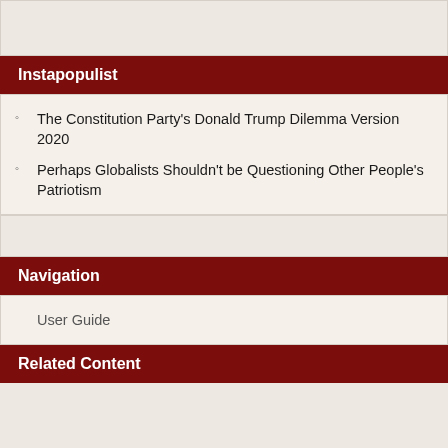Instapopulist
The Constitution Party's Donald Trump Dilemma Version 2020
Perhaps Globalists Shouldn't be Questioning Other People's Patriotism
Navigation
User Guide
Related Content